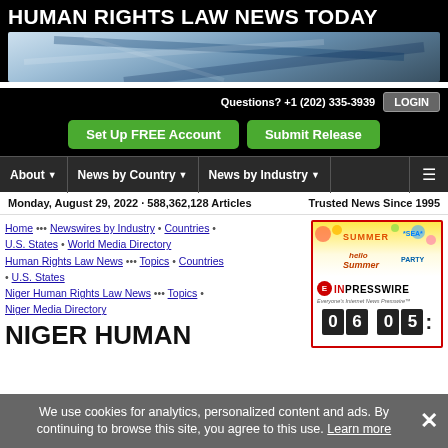HUMAN RIGHTS LAW NEWS TODAY
[Figure (illustration): Header banner image with blue-toned legal/financial document background]
Questions? +1 (202) 335-3939
Set Up FREE Account   Submit Release
About ▼   News by Country ▼   News by Industry ▼
Monday, August 29, 2022 · 588,362,128 Articles
Trusted News Since 1995
Home ••• Newswires by Industry • Countries • U.S. States • World Media Directory Human Rights Law News ••• Topics • Countries • U.S. States Niger Human Rights Law News ••• Topics • Niger Media Directory
NIGER HUMAN
[Figure (advertisement): EINPresswire advertisement with summer theme, logo, and countdown digits 06 05:]
We use cookies for analytics, personalized content and ads. By continuing to browse this site, you agree to this use. Learn more